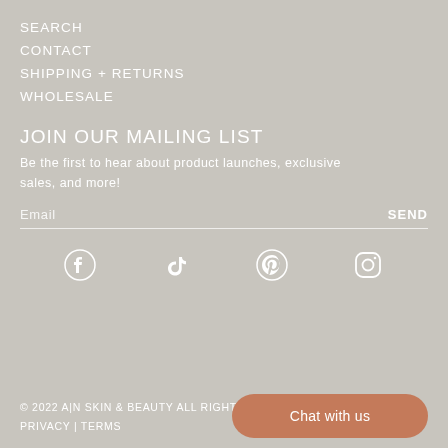SEARCH
CONTACT
SHIPPING + RETURNS
WHOLESALE
JOIN OUR MAILING LIST
Be the first to hear about product launches, exclusive sales, and more!
Email  SEND
[Figure (other): Social media icons row: Facebook, TikTok, Pinterest, Instagram]
© 2022 A|N SKIN & BEAUTY ALL RIGHTS RESERVED
PRIVACY | TERMS
Chat with us